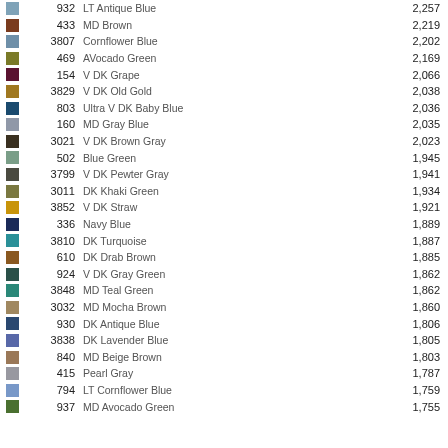|  | Code | Name | Count |
| --- | --- | --- | --- |
|  | 932 | LT Antique Blue | 2,257 |
|  | 433 | MD Brown | 2,219 |
|  | 3807 | Cornflower Blue | 2,202 |
|  | 469 | AVocado Green | 2,169 |
|  | 154 | V DK Grape | 2,066 |
|  | 3829 | V DK Old Gold | 2,038 |
|  | 803 | Ultra V DK Baby Blue | 2,036 |
|  | 160 | MD Gray Blue | 2,035 |
|  | 3021 | V DK Brown Gray | 2,023 |
|  | 502 | Blue Green | 1,945 |
|  | 3799 | V DK Pewter Gray | 1,941 |
|  | 3011 | DK Khaki Green | 1,934 |
|  | 3852 | V DK Straw | 1,921 |
|  | 336 | Navy Blue | 1,889 |
|  | 3810 | DK Turquoise | 1,887 |
|  | 610 | DK Drab Brown | 1,885 |
|  | 924 | V DK Gray Green | 1,862 |
|  | 3848 | MD Teal Green | 1,862 |
|  | 3032 | MD Mocha Brown | 1,860 |
|  | 930 | DK Antique Blue | 1,806 |
|  | 3838 | DK Lavender Blue | 1,805 |
|  | 840 | MD Beige Brown | 1,803 |
|  | 415 | Pearl Gray | 1,787 |
|  | 794 | LT Cornflower Blue | 1,759 |
|  | 937 | MD Avocado Green | 1,755 |